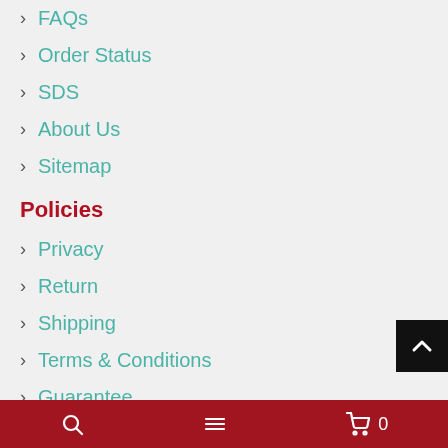FAQs
Order Status
SDS
About Us
Sitemap
Policies
Privacy
Return
Shipping
Terms & Conditions
Guarantee
Volume Discounts
Large volume orders quoted quickly and competitively!
Discounts & Quotes